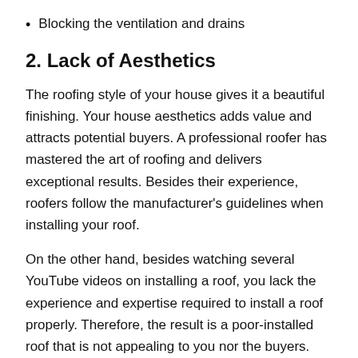Blocking the ventilation and drains
2. Lack of Aesthetics
The roofing style of your house gives it a beautiful finishing. Your house aesthetics adds value and attracts potential buyers. A professional roofer has mastered the art of roofing and delivers exceptional results. Besides their experience, roofers follow the manufacturer's guidelines when installing your roof.
On the other hand, besides watching several YouTube videos on installing a roof, you lack the experience and expertise required to install a roof properly. Therefore, the result is a poor-installed roof that is not appealing to you nor the buyers.